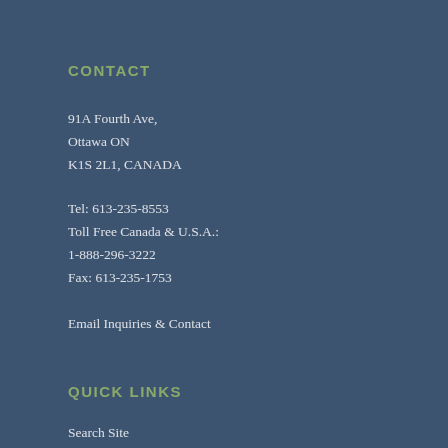CONTACT
91A Fourth Ave,
Ottawa ON
K1S 2L1, CANADA
Tel: 613-235-8553
Toll Free Canada & U.S.A.:
1-888-296-3222
Fax: 613-235-1753
Email Inquiries & Contact
QUICK LINKS
Search Site